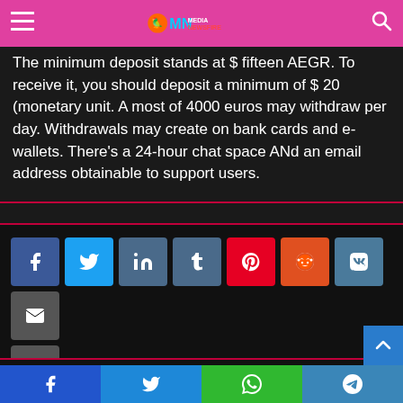MediaNewsFire navigation bar
The minimum deposit stands at $ fifteen AEGR. To receive it, you should deposit a minimum of $ 20 (monetary unit. A most of 4000 euros may withdraw per day. Withdrawals may create on bank cards and e-wallets. There's a 24-hour chat space ANd an email address obtainable to support users.
[Figure (infographic): Social share buttons: Facebook, Twitter, LinkedIn, Tumblr, Pinterest, Reddit, VK, Email, Print]
[Figure (photo): Circular author avatar photo of a smiling man with curly dark hair]
Bottom share bar: Facebook, Twitter, WhatsApp, Telegram